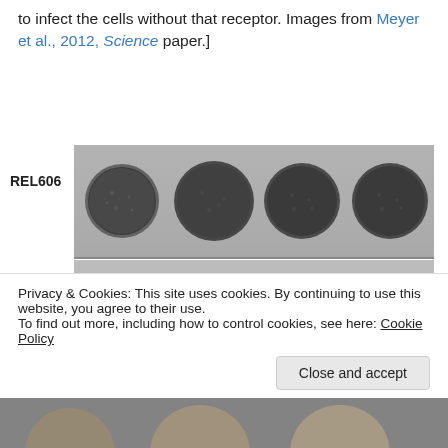to infect the cells without that receptor. Images from Meyer et al., 2012, Science paper.]
[Figure (photo): Two rows of bacterial lawn plates: top row labeled REL606 shows four dark circular plaques on a grey agar plate; bottom row labeled REL606 lamB- shows one dark circular plaque on the far right of a grey agar plate.]
Privacy & Cookies: This site uses cookies. By continuing to use this website, you agree to their use.
To find out more, including how to control cookies, see here: Cookie Policy